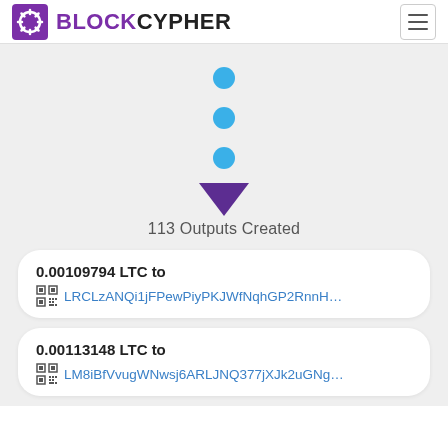BLOCKCYPHER
[Figure (infographic): Three blue dots arranged vertically with a purple downward-pointing triangle arrow below them, indicating a transaction flow. Below: '113 Outputs Created' label.]
113 Outputs Created
0.00109794 LTC to LRCLzANQi1jFPewPiyPKJWfNqhGP2RnnH...
0.00113148 LTC to LM8iBfVvugWNwsj6ARLJNQ377jXJk2uGNg...